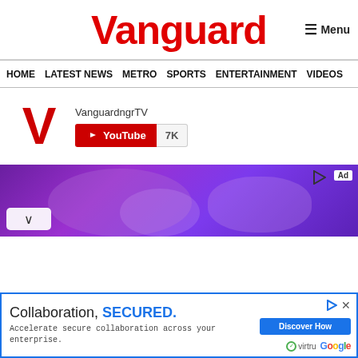Vanguard
HOME  LATEST NEWS  METRO  SPORTS  ENTERTAINMENT  VIDEOS
[Figure (screenshot): VanguardngrTV YouTube channel widget with red V logo, YouTube subscribe button and 7K subscriber count]
[Figure (photo): Purple gradient advertisement banner with Ad label and play icon, chevron collapse button]
[Figure (screenshot): Bottom advertisement banner: Collaboration, SECURED. - Accelerate secure collaboration across your enterprise. Discover How button, virtru and Google logos]